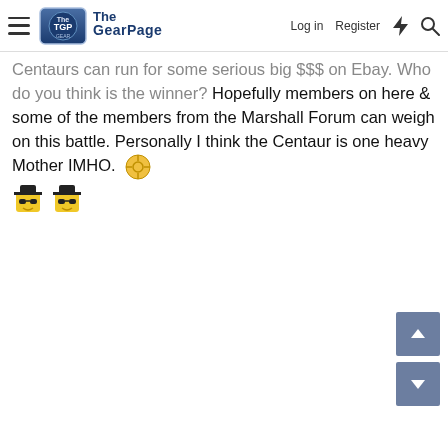The Gear Page — Log in | Register
Centaurs can run for some serious big $$$ on Ebay. Who do you think is the winner? Hopefully members on here & some of the members from the Marshall Forum can weigh on this battle. Personally I think the Centaur is one heavy Mother IMHO.